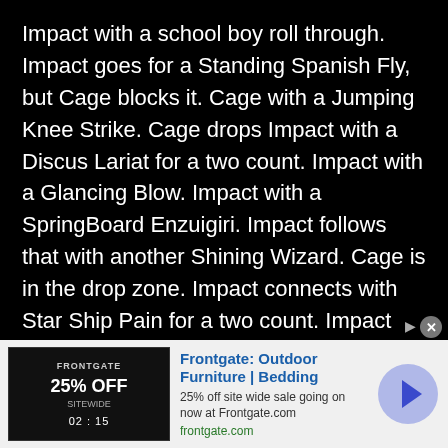Impact with a school boy roll through. Impact goes for a Standing Spanish Fly, but Cage blocks it. Cage with a Jumping Knee Strike. Cage drops Impact with a Discus Lariat for a two count. Impact with a Glancing Blow. Impact with a SpringBoard Enzuigiri. Impact follows that with another Shining Wizard. Cage is in the drop zone. Impact connects with Star Ship Pain for a two count. Impact with an Avalanche Spanish Fly for a one count. Cage is pissed. Cage BuckleBombs Impact. Cage with a Twisting SitOut PowerBomb for a two count. Cage hits Weapon X for a two count. Cage lays out Impact's friends. Cage connects with The Drill Claw, but the referee is distracted by Impact's posse. Cage goes for a DeadLift Suplex, but Impact rolls him over to pickup the victory.
[Figure (other): Advertisement banner for Frontgate: Outdoor Furniture and Bedding. Shows 25% off sitewide sale. Includes product image, title, description, and arrow button.]